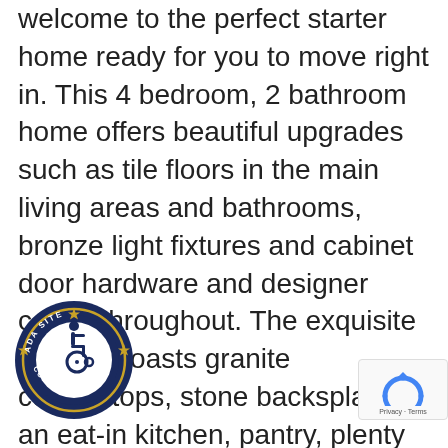welcome to the perfect starter home ready for you to move right in. This 4 bedroom, 2 bathroom home offers beautiful upgrades such as tile floors in the main living areas and bathrooms, bronze light fixtures and cabinet door hardware and designer colors throughout. The exquisite kitchen boasts granite countertops, stone backsplash, an eat-in kitchen, pantry, plenty of counter space and a stunning stone kick wall at the breakfast bar. The formal dining room boasts a beautiful tray ceiling adding an extra touch of elegance.  This is a split-bedroom floorpan with one bedroom near the entrance two bedrooms sharing a hallway with a bathroom in-between that has two sinks across the home is the master suite. The bedroom has an elegant tray ceiling and access to the master bathroom that includes a spacious walk-in closet, an oversized shower,
[Figure (logo): ADA Site Compliance accessibility badge — circular dark blue badge with wheelchair accessibility icon in the center and text 'ADA SITE COMPLIANCE' around the border with stars]
[Figure (logo): reCAPTCHA badge — small box with reCAPTCHA spinning arrows logo and 'Privacy - Terms' text]